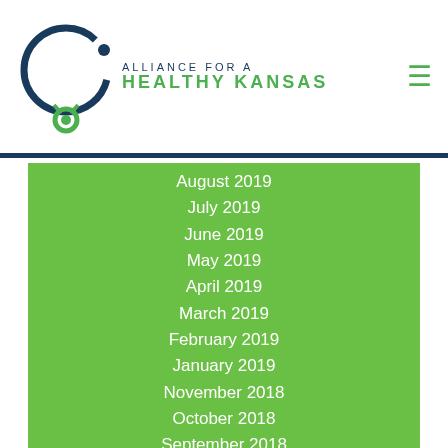Alliance for a Healthy Kansas
August 2019
July 2019
June 2019
May 2019
April 2019
March 2019
February 2019
January 2019
November 2018
October 2018
September 2018
August 2018
July 2018
June 2018
May 2018